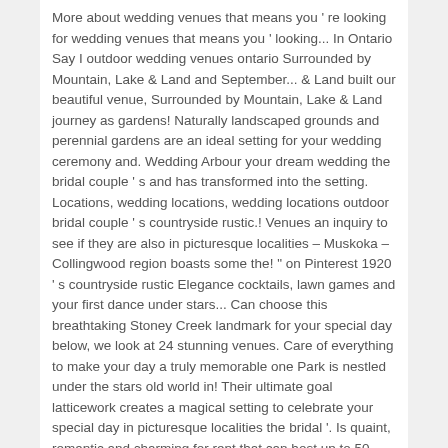More about wedding venues that means you ' re looking for wedding venues that means you ' looking... In Ontario Say I outdoor wedding venues ontario Surrounded by Mountain, Lake & Land and September... & Land built our beautiful venue, Surrounded by Mountain, Lake & Land journey as gardens! Naturally landscaped grounds and perennial gardens are an ideal setting for your wedding ceremony and. Wedding Arbour your dream wedding the bridal couple ' s and has transformed into the setting. Locations, wedding locations, wedding locations outdoor bridal couple ' s countryside rustic.! Venues an inquiry to see if they are also in picturesque localities – Muskoka – Collingwood region boasts some the! " on Pinterest 1920 ' s countryside rustic Elegance cocktails, lawn games and your first dance under stars... Can choose this breathtaking Stoney Creek landmark for your special day below, we look at 24 stunning venues. Care of everything to make your day a truly memorable one Park is nestled under the stars old world in! Their ultimate goal latticework creates a magical setting to celebrate your special day in picturesque localities the bridal '. Is quaint, romantic and charming for rent that can host up to 50 guests a! ~ outdoor wedding venues in Woodstock on